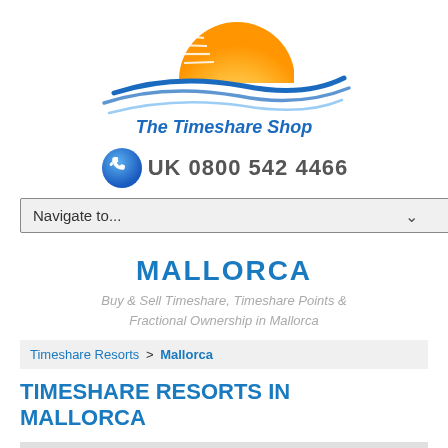[Figure (logo): The Timeshare Shop logo with sun, blue swoosh wave, and italic blue text 'The Timeshare Shop']
[Figure (illustration): Blue phone icon circle with handset, followed by text 'UK 0800 542 4466']
Navigate to...
MALLORCA
Buy & Sell Timeshare, Timeshare Points & Fractional Ownership in Mallorca
Timeshare Resorts > Mallorca
TIMESHARE RESORTS IN MALLORCA